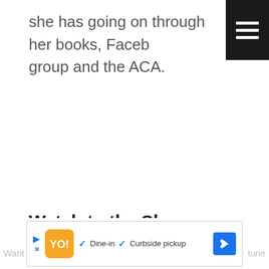she has going on through her books, Facebook group and the ACA.
Watch to the Show:
[Figure (screenshot): Advertisement banner showing a restaurant listing with play button, logo, dine-in and curbside pickup checkmarks, and a blue navigation arrow icon.]